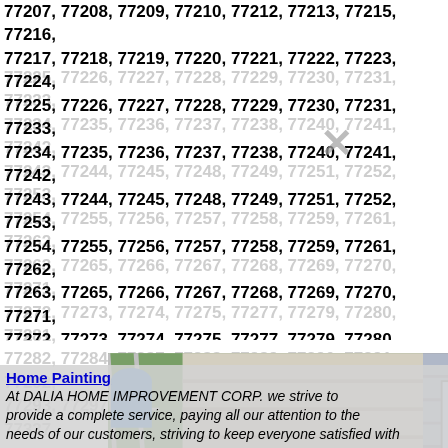77207, 77208, 77209, 77210, 77212, 77213, 77215, 77216, 77217, 77218, 77219, 77220, 77221, 77222, 77223, 77224, 77225, 77226, 77227, 77228, 77229, 77230, 77231, 77233, 77234, 77235, 77236, 77237, 77238, 77240, 77241, 77242, 77243, 77244, 77245, 77248, 77249, 77251, 77252, 77253, 77254, 77255, 77256, 77257, 77258, 77259, 77261, 77262, 77263, 77265, 77266, 77267, 77268, 77269, 77270, 77271, 77272, 77273, 77274, 77275, 77277, 77279, 77280, 77281, 77282, 77284, 77287, 77288, 77289, 77290, 77291, 77292, 77293, 77297, 77298, 77299, 77315, 77325, 77336, 77337, 77338, 77362, 77365, 77383, 77385, 77396, 77401, 77433, 77447, 77477, 77478, 77493, 77494, 77505, 77506, 77518, 77520, 77539, 77545, 77568, 77571, 77572, 77573, 77574, 77578, 77580, 77581, 77583, 77584, 77586, 77587, 77588, 77590, 77591, 77592, 77598
[Figure (photo): Three photos showing people using ladders, one person doing a gymnastic pose near a ladder leaning on a house, one person climbing a ladder on a brick/siding house exterior, and one person jumping over a ladder indoors]
Home Painting
At DALIA HOME IMPROVEMENT CORP. we strive to provide a complete service, paying all our attention to the needs of our customers, striving to keep everyone satisfied with...